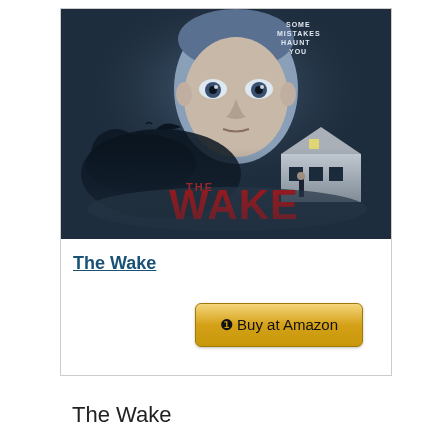[Figure (photo): Movie poster for 'The Wake' — a horror film featuring a close-up of a creepy blonde boy's face at top, with a woman standing near a house below, dark atmospheric background with birds, red 'THE WAKE' text at the bottom, and small text 'SOME MISTAKES HAUNT YOU' at top right.]
The Wake
❶ Buy at Amazon
The Wake